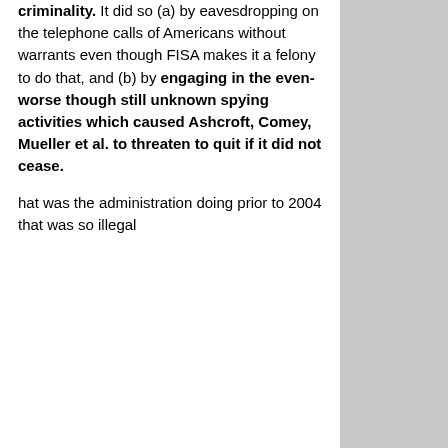criminality. It did so (a) by eavesdropping on the telephone calls of Americans without warrants even though FISA makes it a felony to do that, and (b) by engaging in the even-worse though still unknown spying activities which caused Ashcroft, Comey, Mueller et al. to threaten to quit if it did not cease.
hat was the administration doing prior to 2004 that was so illegal